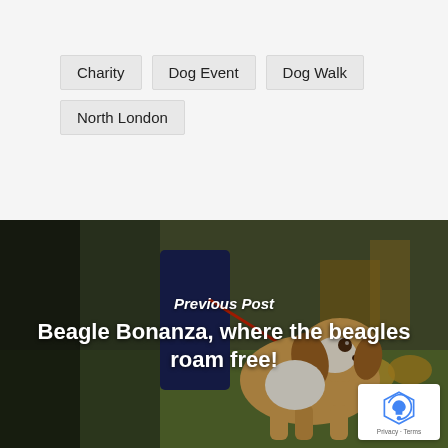Charity
Dog Event
Dog Walk
North London
[Figure (photo): A beagle dog on a lead being walked outdoors on a grassy area, with a person in dark clothing visible behind. Background shows trees and outdoor structures.]
Previous Post
Beagle Bonanza, where the beagles roam free!